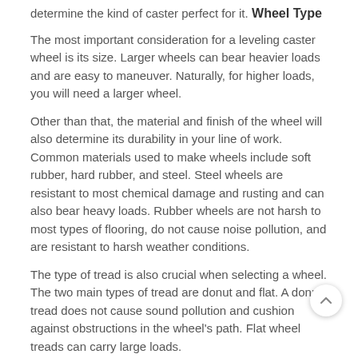determine the kind of caster perfect for it.
Wheel Type
The most important consideration for a leveling caster wheel is its size. Larger wheels can bear heavier loads and are easy to maneuver. Naturally, for higher loads, you will need a larger wheel.
Other than that, the material and finish of the wheel will also determine its durability in your line of work. Common materials used to make wheels include soft rubber, hard rubber, and steel. Steel wheels are resistant to most chemical damage and rusting and can also bear heavy loads. Rubber wheels are not harsh to most types of flooring, do not cause noise pollution, and are resistant to harsh weather conditions.
The type of tread is also crucial when selecting a wheel. The two main types of tread are donut and flat. A donut tread does not cause sound pollution and cushion against obstructions in the wheel's path. Flat wheel treads can carry large loads.